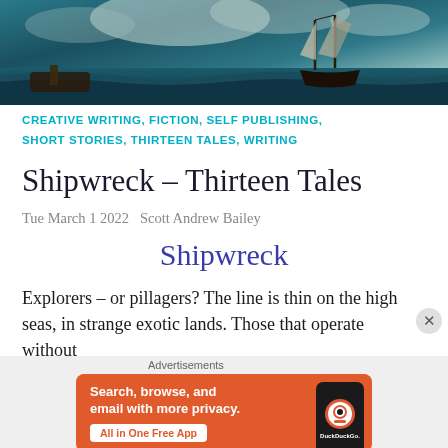[Figure (illustration): A dramatic dark teal/navy painting of a stormy sea with a tall sailing ship in the background and wreckage in the foreground, stormy clouds overhead]
CREATIVE WRITING, FICTION, SELF PUBLISHING, SHORT STORIES, THIRTEEN TALES, WRITING
Shipwreck – Thirteen Tales
Tue March 1 2022   Scott Andrew Bailey
Shipwreck
Explorers – or pillagers? The line is thin on the high seas, in strange exotic lands. Those that operate without
Advertisements
[Figure (screenshot): DuckDuckGo advertisement banner on orange/red background: 'Search, browse, and email with more privacy. All in One Free App' with DuckDuckGo logo on a phone mockup]